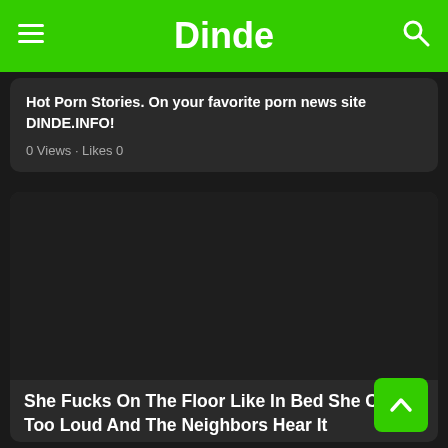Dinde
Hot Porn Stories. On your favorite porn news site DINDE.INFO!
0 Views · Likes 0
[Figure (photo): Dark/black image placeholder for video thumbnail]
She Fucks On The Floor Like In Bed She Creaks Too Loud And The Neighbors Hear It
View the xxx porn article: She Fucks On The Floor Like In Bed She Creaks Too Loud And The Neighbors Hear It. New Porn Videos, Hot Porn Stories. On your favorite porn news site DINDE.INFO!